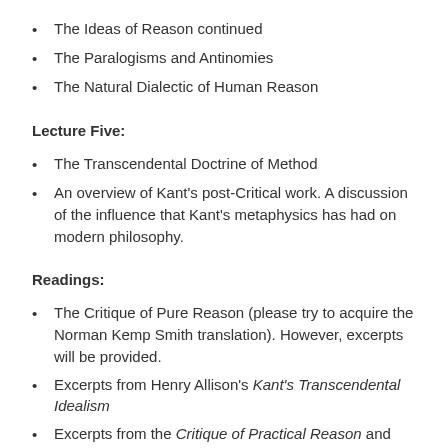The Ideas of Reason continued
The Paralogisms and Antinomies
The Natural Dialectic of Human Reason
Lecture Five:
The Transcendental Doctrine of Method
An overview of Kant's post-Critical work. A discussion of the influence that Kant's metaphysics has had on modern philosophy.
Readings:
The Critique of Pure Reason (please try to acquire the Norman Kemp Smith translation). However, excerpts will be provided.
Excerpts from Henry Allison's Kant's Transcendental Idealism
Excerpts from the Critique of Practical Reason and